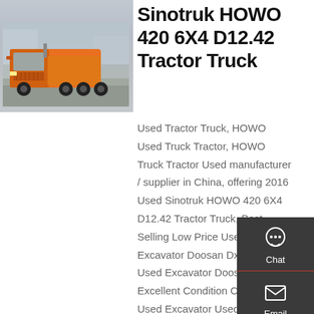[Figure (photo): Orange Sinotruk HOWO 6x4 tractor truck parked in front of a building, photographed from the front-left angle.]
Sinotruk HOWO 420 6X4 D12.42 Tractor Truck
Used Tractor Truck, HOWO Used Truck Tractor, HOWO Truck Tractor Used manufacturer / supplier in China, offering 2016 Used Sinotruk HOWO 420 6X4 D12.42 Tractor Truck, Best Selling Low Price Used Excavator Doosan Dx300lc, Used Excavator Doosan Dh300, Excellent Condition China Cheap Used Excavator Used Doosan Dh300 Excavator on Sale and so